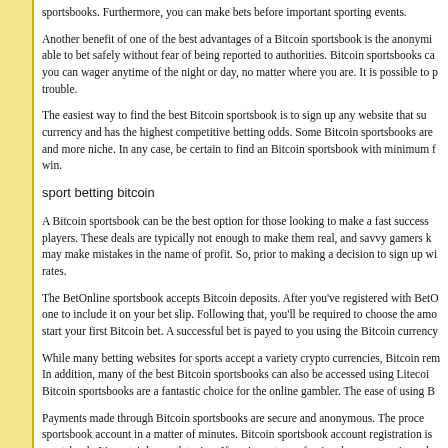sportsbooks. Furthermore, you can make bets before important sporting events.
Another benefit of one of the best advantages of a Bitcoin sportsbook is the anonymi... able to bet safely without fear of being reported to authorities. Bitcoin sportsbooks ca... you can wager anytime of the night or day, no matter where you are. It is possible to p... trouble.
The easiest way to find the best Bitcoin sportsbook is to sign up any website that su... currency and has the highest competitive betting odds. Some Bitcoin sportsbooks are... and more niche. In any case, be certain to find an Bitcoin sportsbook with minimum f... win.
sport betting bitcoin
A Bitcoin sportsbook can be the best option for those looking to make a fast success... players. These deals are typically not enough to make them real, and savvy gamers k... may make mistakes in the name of profit. So, prior to making a decision to sign up wi... rates.
The BetOnline sportsbook accepts Bitcoin deposits. After you've registered with BetO... one to include it on your bet slip. Following that, you'll be required to choose the amo... start your first Bitcoin bet. A successful bet is payed to you using the Bitcoin currency...
While many betting websites for sports accept a variety crypto currencies, Bitcoin rem... In addition, many of the best Bitcoin sportsbooks can also be accessed using Litecoi... Bitcoin sportsbooks are a fantastic choice for the online gambler. The ease of using B...
Payments made through Bitcoin sportsbooks are secure and anonymous. The proces... sportsbook account in a matter of minutes. Bitcoin sportsbook account registration is... sportsbook. It's certainly worth trying. If you're not a professional or an experienced...